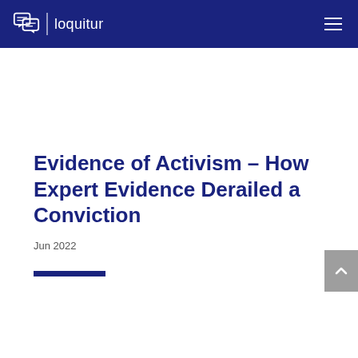loquitur
Evidence of Activism – How Expert Evidence Derailed a Conviction
Jun 2022